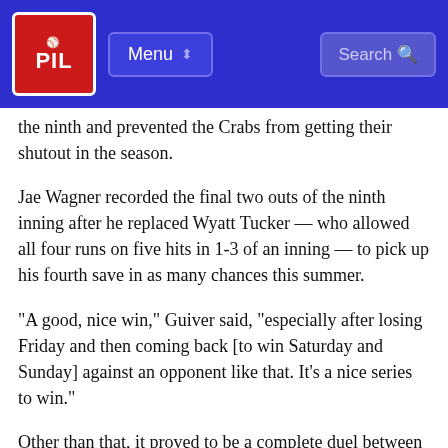PIL | Menu | Search
the ninth and prevented the Crabs from getting their shutout in the season.
Jae Wagner recorded the final two outs of the ninth inning after he replaced Wyatt Tucker — who allowed all four runs on five hits in 1-3 of an inning — to pick up his fourth save in as many chances this summer.
“A good, nice win,” Guiver said, “especially after losing Friday and then coming back [to win Saturday and Sunday] against an opponent like that. It’s a nice series to win.”
Other than that, it proved to be a complete duel between Feenstra and Crabs starter Connor Loar, who was making his 2017 debut.
After his wild first inning, Feenstra settled down and completely overpowered Crabs hitters for